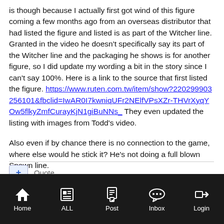is though because I actually first got wind of this figure coming a few months ago from an overseas distributor that had listed the figure and listed is as part of the Witcher line. Granted in the video he doesn't specifically say its part of the Witcher line and the packaging he shows is for another figure, so I did update my wording a bit in the story since I can't say 100%. Here is a link to the source that first listed the figure. https://www.ruten.com.tw/item/show?220299903256101&fbclid=IwAR0I7kwniqUFr2NElfVPsXZr-THVrXyqYOw5flkyZmfCurayKjN1giBuNNs_ They even updated the listing with images from Todd's video.

Also even if by chance there is no connection to the game, where else would he stick it? He's not doing a full blown Spawn line.
Home  ALL  Post  Inbox  Login